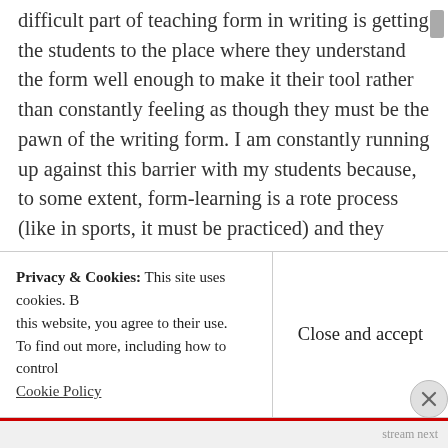difficult part of teaching form in writing is getting the students to the place where they understand the form well enough to make it their tool rather than constantly feeling as though they must be the pawn of the writing form. I am constantly running up against this barrier with my students because, to some extent, form-learning is a rote process (like in sports, it must be practiced) and they would rather write things exactly as they come out of their heads. As Mackenzie said, the moment a student realizes that the form serves the purpose of the writing and helps to clarify the
Privacy & Cookies: This site uses cookies. By continuing to use this website, you agree to their use. To find out more, including how to control cookies, see here: Cookie Policy
Close and accept